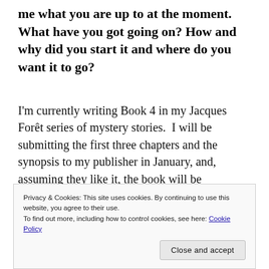me what you are up to at the moment. What have you got going on? How and why did you start it and where do you want it to go?
I'm currently writing Book 4 in my Jacques Forêt series of mystery stories.  I will be submitting the first three chapters and the synopsis to my publisher in January, and, assuming they like it, the book will be published sometime next year.  I'm also working on another Miss Moonshine short story for a second anthology that is due to be published towards the end of 2019.  I've got a
Privacy & Cookies: This site uses cookies. By continuing to use this website, you agree to their use.
To find out more, including how to control cookies, see here: Cookie Policy
[Close and accept]